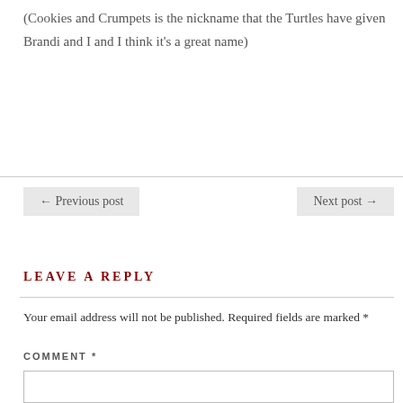(Cookies and Crumpets is the nickname that the Turtles have given Brandi and I and I think it's a great name)
LEAVE A REPLY
Your email address will not be published. Required fields are marked *
COMMENT *